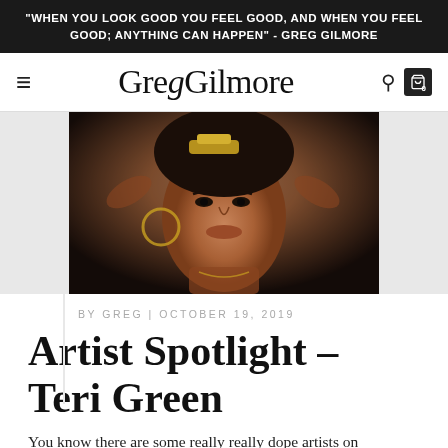"WHEN YOU LOOK GOOD YOU FEEL GOOD, AND WHEN YOU FEEL GOOD; ANYTHING CAN HAPPEN" - GREG GILMORE
GregGilmore
[Figure (photo): Close-up portrait photo of Teri Green, a woman with short dark hair and a gold headpiece accessory, hoop earrings, looking at camera]
BY GREG | OCTOBER 19, 2019
Artist Spotlight - Teri Green
You know there are some really really dope artists on